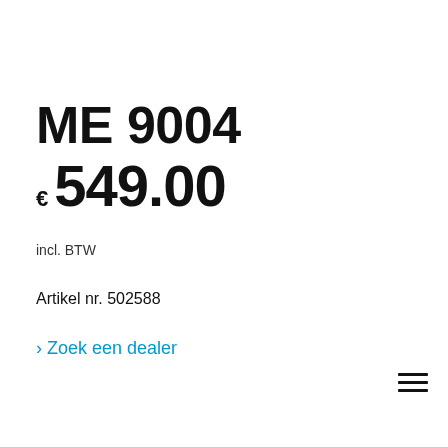ME 9004
€ 549.00
incl. BTW
Artikel nr. 502588
> Zoek een dealer